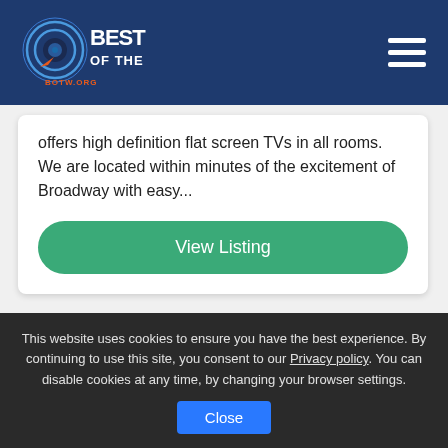[Figure (logo): Best of the Web (BOTW.ORG) logo with circular target icon and navigation hamburger menu on dark blue header bar]
offers high definition flat screen TVs in all rooms. We are located within minutes of the excitement of Broadway with easy...
View Listing
[Figure (illustration): Partial blue icon illustration visible at bottom of content area]
This website uses cookies to ensure you have the best experience. By continuing to use this site, you consent to our Privacy policy. You can disable cookies at any time, by changing your browser settings.
Close